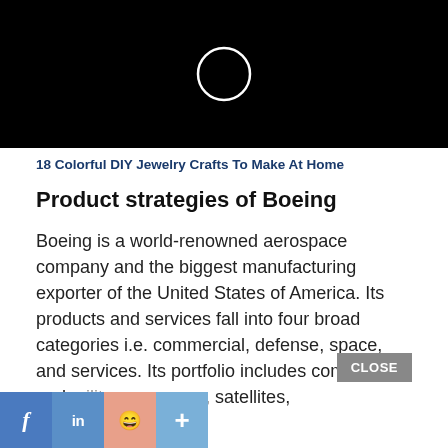[Figure (screenshot): Black video thumbnail with a white circle outline in the center, resembling a loading or play indicator.]
18 Colorful DIY Jewelry Crafts To Make At Home
Product strategies of Boeing
Boeing is a world-renowned aerospace company and the biggest manufacturing exporter of the United States of America. Its products and services fall into four broad categories i.e. commercial, defense, space, and services. Its portfolio includes commercial and military weapons, satellites,